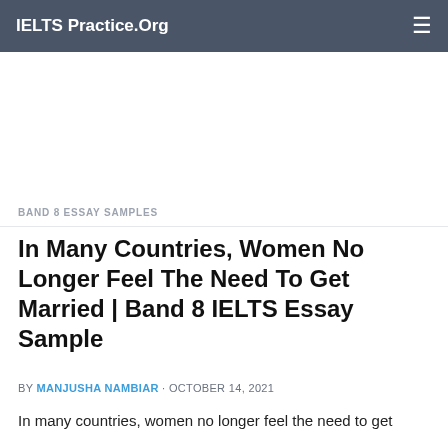IELTS Practice.Org
BAND 8 ESSAY SAMPLES
In Many Countries, Women No Longer Feel The Need To Get Married | Band 8 IELTS Essay Sample
BY MANJUSHA NAMBIAR · OCTOBER 14, 2021
In many countries, women no longer feel the need to get